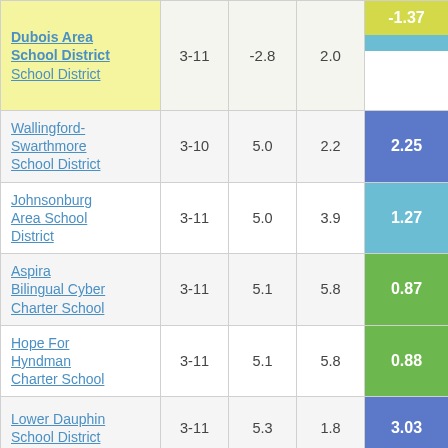| School/District | Grades | Col3 | Col4 | Score |
| --- | --- | --- | --- | --- |
| Dubois Area School District / School District | 3-11 | -2.8 | 2.0 | -1.37 |
| Wallingford-Swarthmore School District | 3-10 | 5.0 | 2.2 | 2.25 |
| Johnsonburg Area School District | 3-11 | 5.0 | 3.9 | 1.27 |
| Aspira Bilingual Cyber Charter School | 3-11 | 5.1 | 5.8 | 0.87 |
| Hope For Hyndman Charter School | 3-11 | 5.1 | 5.8 | 0.88 |
| Lower Dauphin School District | 3-11 | 5.3 | 1.8 | 3.03 |
| Great Valley School District | 3-11 | 5.4 | 2.0 | 2.77 |